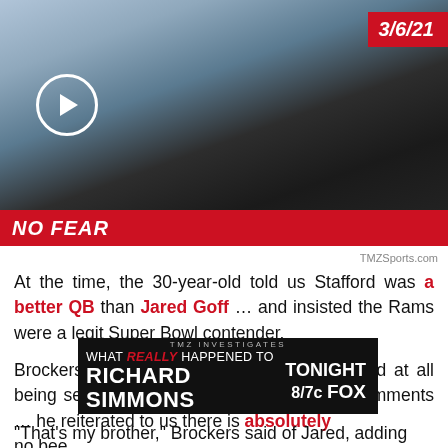[Figure (photo): Person wearing a blue Los Angeles Rams face mask and gold chain necklaces, at what appears to be an airport with escalators in background. A video play button overlay is visible on the left. Date badge '3/6/21' in red at top right.]
NO FEAR
TMZSports.com
At the time, the 30-year-old told us Stafford was a better QB than Jared Goff … and insisted the Rams were a legit Super Bowl contender.
Brockers, though, tells us it hasn't been weird at all being sent to Detroit with Goff despite the comments … he reiterated to us there is absolutely no bee
[Figure (screenshot): TMZ Investigates advertisement banner: 'WHAT REALLY HAPPENED TO RICHARD SIMMONS' TONIGHT 8/7c FOX]
"That's my brother," Brockers said of Jared, adding